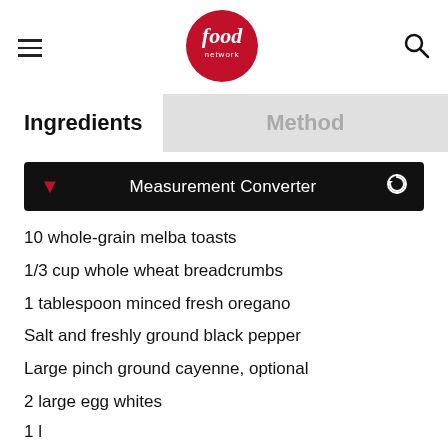food network (logo, hamburger menu, search icon)
Ingredients
Method
Measurement Converter
10 whole-grain melba toasts
1/3 cup whole wheat breadcrumbs
1 tablespoon minced fresh oregano
Salt and freshly ground black pepper
Large pinch ground cayenne, optional
2 large egg whites
1 l…